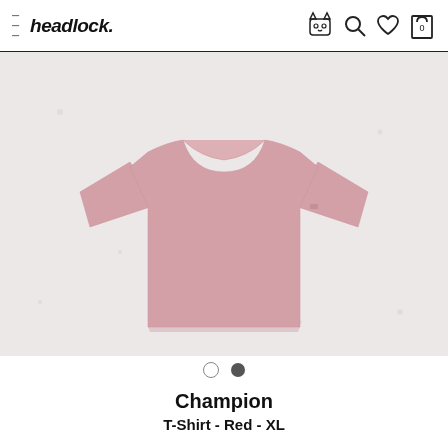headlock.
[Figure (photo): A pink/dusty rose oversized Champion t-shirt hanging or displayed flat against a white textured background.]
Champion
T-Shirt - Red - XL